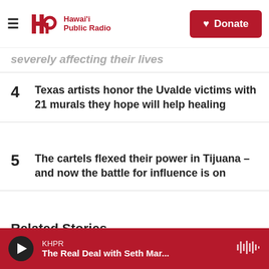Hawai'i Public Radio — Donate
severely affecting their lives
4 Texas artists honor the Uvalde victims with 21 murals they hope will help healing
5 The cartels flexed their power in Tijuana – and now the battle for influence is on
Related Stories
KHPR — The Real Deal with Seth Mar...